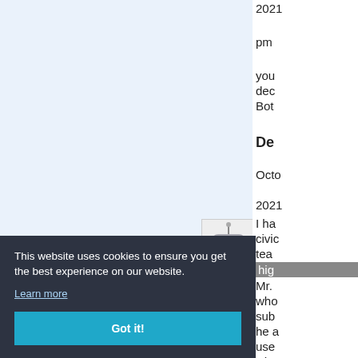[Figure (screenshot): Screenshot of a website with a light blue background on the left side, an avatar image of a robot cartoon character (Bender from Futurama) on the right portion of the left panel, partial article text on the far right column, and a cookie consent banner overlay at the bottom left with dark background, white text, and a teal 'Got it!' button.]
2021
pm
you dec Bot
De
Octo
2021
I ha civic tea hig Mr. who sub he a use who
This website uses cookies to ensure you get the best experience on our website.
Learn more
Got it!